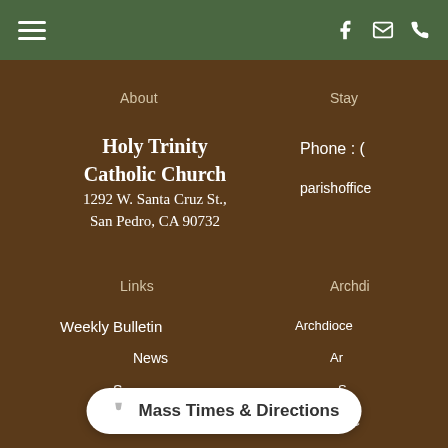Navigation bar with hamburger menu and social icons (Facebook, Email, Phone)
About
Holy Trinity Catholic Church
1292 W. Santa Cruz St.,
San Pedro, CA 90732
Stay
Phone : (
parishoffice
Links
Weekly Bulletin
News
S...
Archdi
Archdioce...
Ar...
S...
Catholic C...
Mass Times & Directions